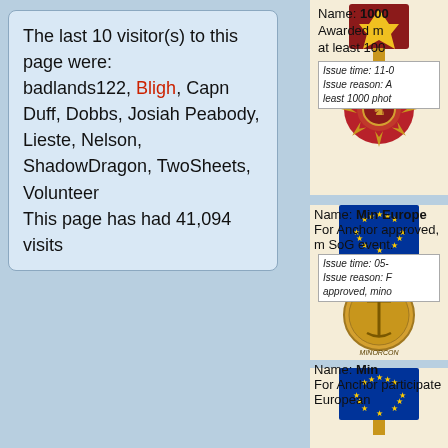The last 10 visitor(s) to this page were:
badlands122, Bligh, Capn Duff, Dobbs, Josiah Peabody, Lieste, Nelson, ShadowDragon, TwoSheets, Volunteer
This page has had 41,094 visits
[Figure (illustration): Military-style medal with red star and ornate gold starburst badge]
Name: 1000
Awarded m at least 100
Issue time: 11-0 Issue reason: A least 1000 phot
[Figure (illustration): European Union flag (blue with gold stars) ribbon medal with gold anchor coin]
Name: Minor Europe
For Anchor approved, m SoG event.
Issue time: 05- Issue reason: F approved, mino
[Figure (illustration): European Union flag (blue with gold stars) ribbon medal]
Name: Min For Anchor participate European